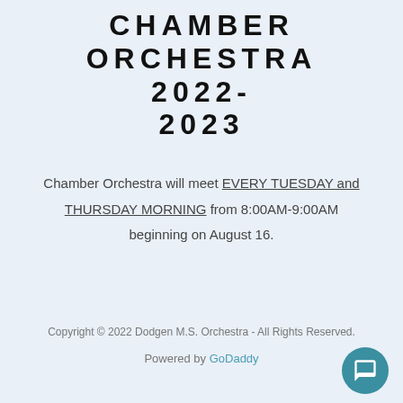CHAMBER ORCHESTRA 2022-2023
Chamber Orchestra will meet EVERY TUESDAY and THURSDAY MORNING from 8:00AM-9:00AM beginning on August 16.
Copyright © 2022 Dodgen M.S. Orchestra - All Rights Reserved.
Powered by GoDaddy